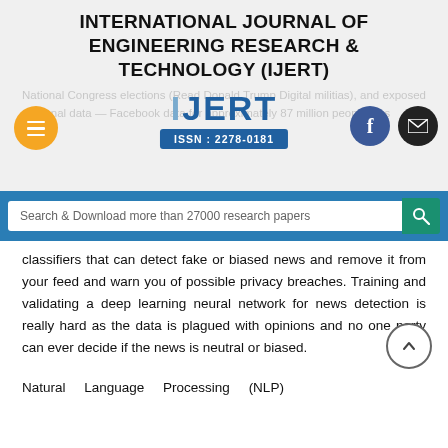INTERNATIONAL JOURNAL OF ENGINEERING RESEARCH & TECHNOLOGY (IJERT)
[Figure (logo): IJERT logo with ISSN 2278-0181, overlaid on faded background text about National Congress elections and Facebook data]
Search & Download more than 27000 research papers
classifiers that can detect fake or biased news and remove it from your feed and warn you of possible privacy breaches. Training and validating a deep learning neural network for news detection is really hard as the data is plagued with opinions and no one party can ever decide if the news is neutral or biased.
Natural Language Processing (NLP)